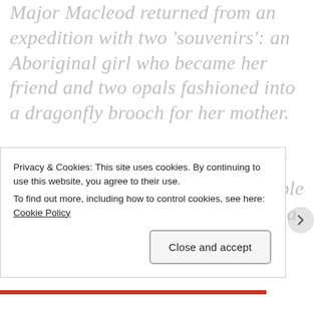Major Macleod returned from an expedition with two 'souvenirs': an Aboriginal girl who became her friend and two opals fashioned into a dragonfly brooch for her mother.

When Isobel inherits this 'unlucky' heirloom, she wonders if the terrible dreams it summons are a curse or a gift. Now Isobel's hopes for her future depend on a charming bohemian
Privacy & Cookies: This site uses cookies. By continuing to use this website, you agree to their use.
To find out more, including how to control cookies, see here: Cookie Policy

Close and accept